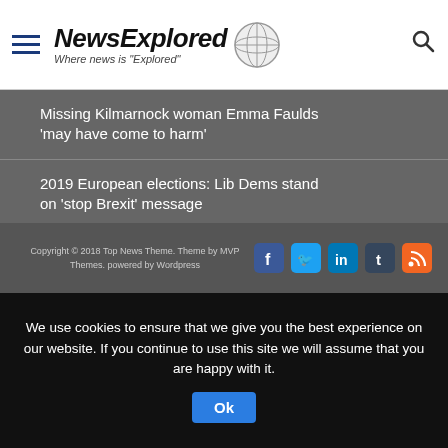NewsExplored — Where news is "Explored"
Missing Kilmarnock woman Emma Faulds 'may have come to harm'
2019 European elections: Lib Dems stand on 'stop Brexit' message
Nature loss: Report to show scale of 'silent crisis'
Canoeist dies during annual Devizes to Westminster race
Copyright © 2018 Top News Theme. Theme by MVP Themes. powered by Wordpress
We use cookies to ensure that we give you the best experience on our website. If you continue to use this site we will assume that you are happy with it.